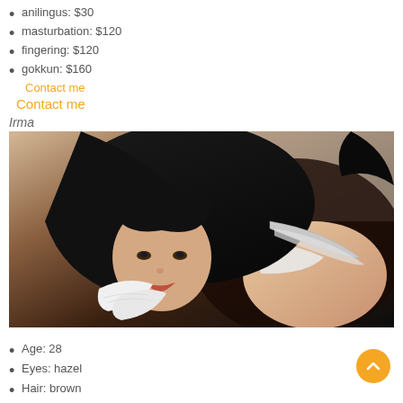anilingus: $30
masturbation: $120
fingering: $120
gokkun: $160
Contact me
Contact me
Irma
[Figure (photo): Woman with black hair wearing a maid-style costume with white lace collar, posed looking at camera]
Age: 28
Eyes: hazel
Hair: brown